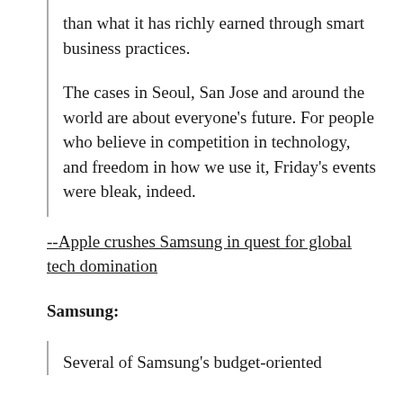than what it has richly earned through smart business practices.
The cases in Seoul, San Jose and around the world are about everyone's future. For people who believe in competition in technology, and freedom in how we use it, Friday's events were bleak, indeed.
--Apple crushes Samsung in quest for global tech domination
Samsung:
Several of Samsung's budget-oriented